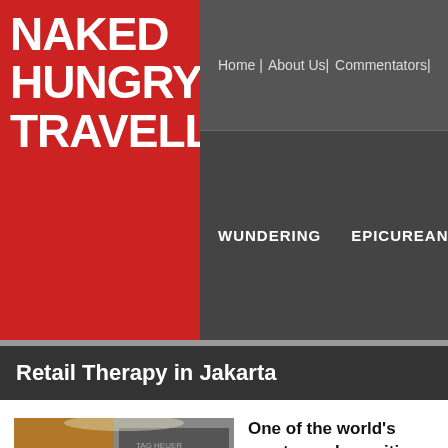NAKED HUNGRY TRAVELLER
Home | About Us | Commentators | WUNDERING  EPICUREAN
Retail Therapy in Jakarta
[Figure (photo): A red spider-man like sculpture/statue doing a breakdance pose in a shopping mall, with luxury store TAG Heuer visible in the background]
One of the world's most populous cities, Jakarta a.k.a. Big Durian is a shopp...
Officially Jakarta's pe... population is approx... Unofficially the numb... million when daily co...